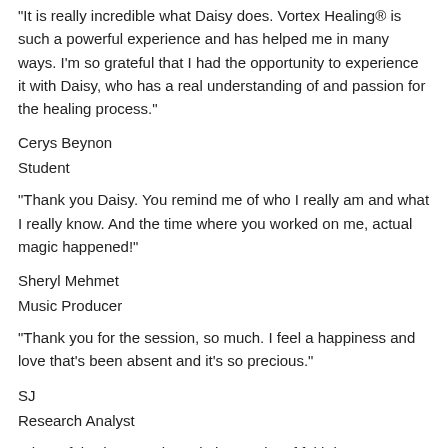“It is really incredible what Daisy does. Vortex Healing® is such a powerful experience and has helped me in many ways. I’m so grateful that I had the opportunity to experience it with Daisy, who has a real understanding of and passion for the healing process.”
Cerys Beynon
Student
“Thank you Daisy. You remind me of who I really am and what I really know. And the time where you worked on me, actual magic happened!”
Sheryl Mehmet
Music Producer
“Thank you for the session, so much. I feel a happiness and love that’s been absent and it’s so precious.”
SJ
Research Analyst
“I have felt what you do and I have a lot of faith in your abilities. You